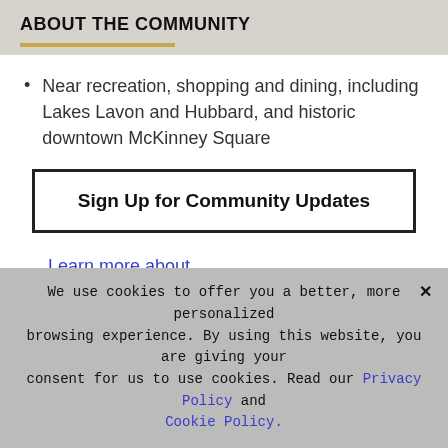ABOUT THE COMMUNITY
Near recreation, shopping and dining, including Lakes Lavon and Hubbard, and historic downtown McKinney Square
Sign Up for Community Updates
Learn more about Princeton Estates ›
We use cookies to offer you a better, more personalized browsing experience. By using this website, you are giving your consent for us to use cookies. Read our Privacy Policy and Cookie Policy.